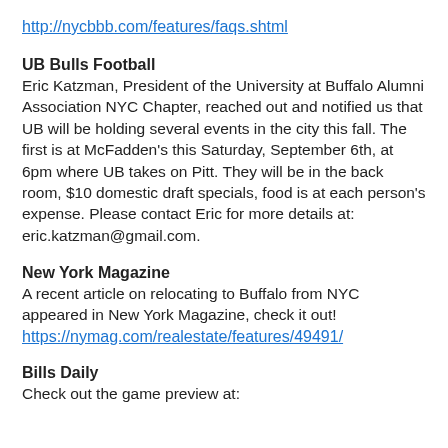http://nycbbb.com/features/faqs.shtml
UB Bulls Football
Eric Katzman, President of the University at Buffalo Alumni Association NYC Chapter, reached out and notified us that UB will be holding several events in the city this fall. The first is at McFadden's this Saturday, September 6th, at 6pm where UB takes on Pitt. They will be in the back room, $10 domestic draft specials, food is at each person's expense. Please contact Eric for more details at: eric.katzman@gmail.com.
New York Magazine
A recent article on relocating to Buffalo from NYC appeared in New York Magazine, check it out!
https://nymag.com/realestate/features/49491/
Bills Daily
Check out the game preview at: